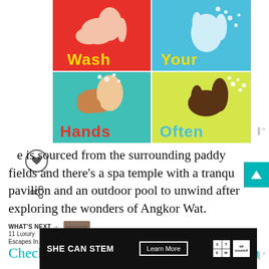[Figure (illustration): Colorful 'Wash Your Hands Often' infographic with four quadrants: red background with light-skin hands and 'Wash' text, blue background with light-skin soapy hand and 'Your' text, teal background with brown-skin soapy hands and 'Hands' text, yellow-green background with dark-skin soapy hand and 'Often' text.]
is sourced from the surrounding paddy fields and there's a spa temple with a tranqu... pavilion and an outdoor pool to unwind after exploring the wonders of Angkor Wat.
WHAT'S NEXT → 11 Luxury Escapes In...
Check the latest prices for Phum Baitang in
[Figure (screenshot): Black advertisement banner reading 'SHE CAN STEM' with 'Learn More' button, STEM grid logo, and Ad Council logo]